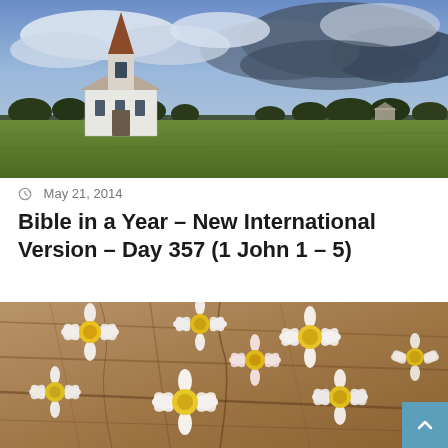[Figure (photo): A small white country church with a steeple stands in a wide green grassy field under a dramatic blue cloudy sky, with a row of dark trees in the background.]
May 21, 2014
Bible in a Year – New International Version – Day 357 (1 John 1 – 5)
[Figure (photo): Daisy flowers arranged in a heart shape on a cracked wooden surface, white petals with yellow centers.]